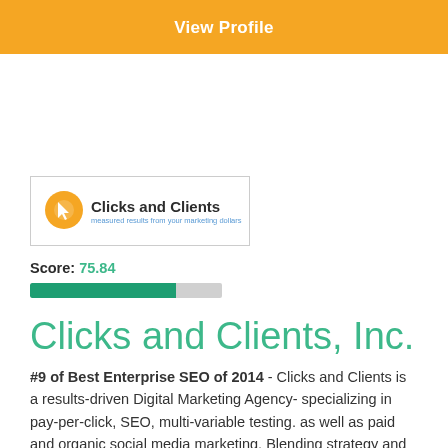View Profile
[Figure (logo): Clicks and Clients logo: orange circle icon with cursor, bold text 'Clicks and Clients', subtitle 'measured results from your marketing dollars']
Score: 75.84
Clicks and Clients, Inc.
#9 of Best Enterprise SEO of 2014 - Clicks and Clients is a results-driven Digital Marketing Agency- specializing in pay-per-click, SEO, multi-variable testing. as well as paid and organic social media marketing. Blending strategy and design, Clicks and Clients delivers measured results from your marketing dollars.